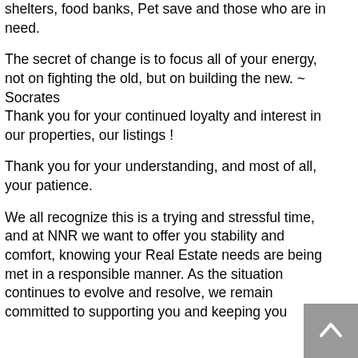shelters, food banks, Pet save and those who are in need.
The secret of change is to focus all of your energy, not on fighting the old, but on building the new. ~ Socrates
Thank you for your continued loyalty and interest in our properties, our listings !
Thank you for your understanding, and most of all, your patience.
We all recognize this is a trying and stressful time, and at NNR we want to offer you stability and comfort, knowing your Real Estate needs are being met in a responsible manner. As the situation continues to evolve and resolve, we remain committed to supporting you and keeping you